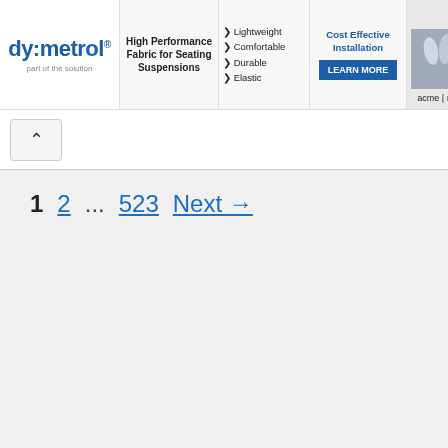[Figure (other): Advertisement banner for dy:metrol fabric seating suspensions and acme mills, showing logo, product features (Lightweight, Comfortable, Durable, Elastic), a 'Cost Effective Installation' call-to-action with LEARN MORE button, and acme|mills branding.]
^ (navigation up button)
1  2  ...  523  Next →